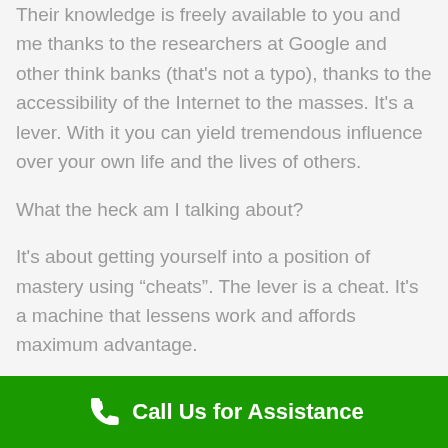Their knowledge is freely available to you and me thanks to the researchers at Google and other think banks (that's not a typo), thanks to the accessibility of the Internet to the masses. It's a lever.  With it you can yield tremendous influence over your own life and the lives of others.
What the heck am I talking about?
It's about getting yourself into a position of mastery using “cheats”.  The lever is a cheat. It's a machine that lessens work and affords maximum advantage.
Call Us for Assistance